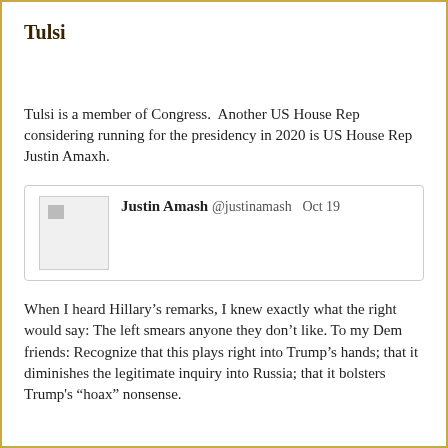Tulsi
Tulsi is a member of Congress.  Another US House Rep considering running for the presidency in 2020 is US House Rep Justin Amaxh.
[Figure (screenshot): Embedded tweet card from Justin Amash (@justinamash) dated Oct 19, with a broken image placeholder avatar.]
When I heard Hillary’s remarks, I knew exactly what the right would say: The left smears anyone they don’t like. To my Dem friends: Recognize that this plays right into Trump’s hands; that it diminishes the legitimate inquiry into Russia; that it bolsters Trump's “hoax” nonsense.